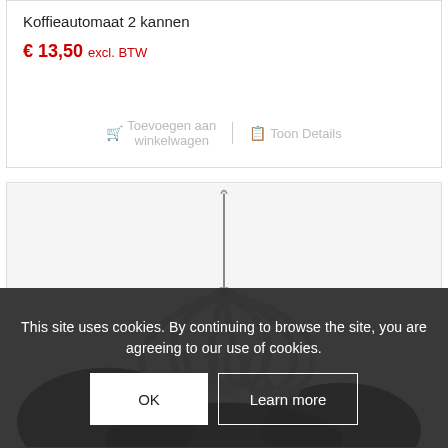Koffieautomaat 2 kannen
€ 13,50 excl. BTW
🛒 Toevoegen aan winkelwagen | 📋 Toon Details
[Figure (photo): Product image of a chandelier or glass coffee maker with multiple transparent tubes/carafes arranged in a circular pattern, hanging from a central stem.]
This site uses cookies. By continuing to browse the site, you are agreeing to our use of cookies.
OK  Learn more